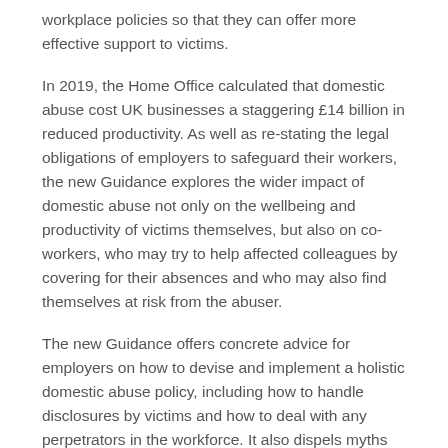workplace policies so that they can offer more effective support to victims.
In 2019, the Home Office calculated that domestic abuse cost UK businesses a staggering £14 billion in reduced productivity. As well as re-stating the legal obligations of employers to safeguard their workers, the new Guidance explores the wider impact of domestic abuse not only on the wellbeing and productivity of victims themselves, but also on co-workers, who may try to help affected colleagues by covering for their absences and who may also find themselves at risk from the abuser.
The new Guidance offers concrete advice for employers on how to devise and implement a holistic domestic abuse policy, including how to handle disclosures by victims and how to deal with any perpetrators in the workforce. It also dispels myths about domestic abuse, stressing that physical abuse